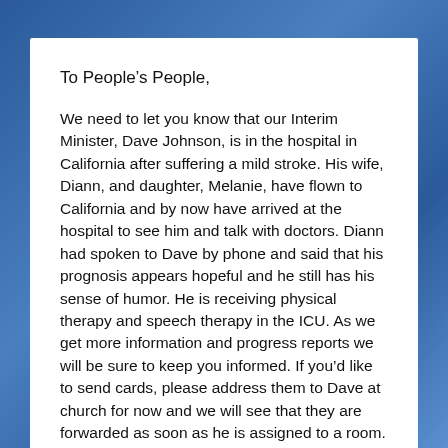To People's People,
We need to let you know that our Interim Minister, Dave Johnson, is in the hospital in California after suffering a mild stroke. His wife, Diann, and daughter, Melanie, have flown to California and by now have arrived at the hospital to see him and talk with doctors. Diann had spoken to Dave by phone and said that his prognosis appears hopeful and he still has his sense of humor. He is receiving physical therapy and speech therapy in the ICU. As we get more information and progress reports we will be sure to keep you informed. If you'd like to send cards, please address them to Dave at church for now and we will see that they are forwarded as soon as he is assigned to a room.
Your Board of Trustees met this evening to discuss